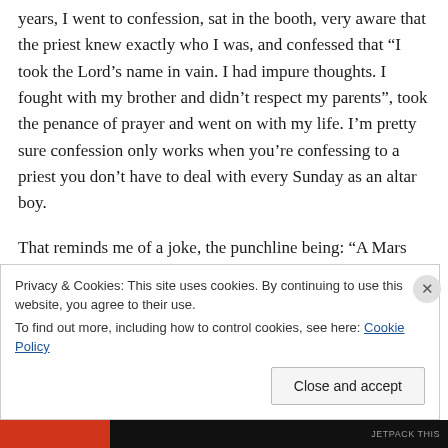years, I went to confession, sat in the booth, very aware that the priest knew exactly who I was, and confessed that “I took the Lord’s name in vain. I had impure thoughts. I fought with my brother and didn’t respect my parents”, took the penance of prayer and went on with my life. I’m pretty sure confession only works when you’re confessing to a priest you don’t have to deal with every Sunday as an altar boy.
That reminds me of a joke, the punchline being: “A Mars Bar and a can of Coke”. You’re not getting any more out of
Privacy & Cookies: This site uses cookies. By continuing to use this website, you agree to their use.
To find out more, including how to control cookies, see here: Cookie Policy